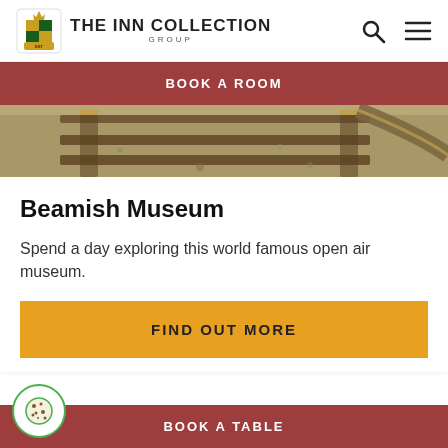[Figure (logo): The Inn Collection Group logo with heraldic crest and text]
BOOK A ROOM
[Figure (photo): Railway tracks viewed from above, showing gravel and wooden sleepers]
Beamish Museum
Spend a day exploring this world famous open air museum.
FIND OUT MORE
BOOK A TABLE